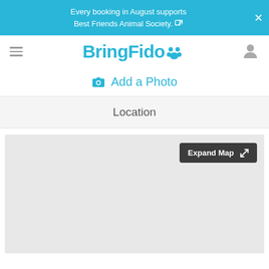Every booking in August supports Best Friends Animal Society. [external link]
[Figure (logo): BringFido logo with paw print icon in teal/blue color]
Add a Photo
Location
[Figure (map): Map area placeholder with Expand Map button]